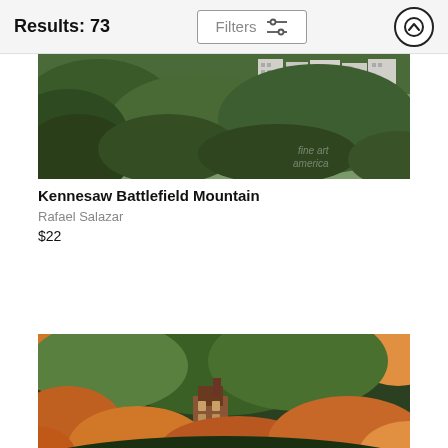Results: 73 | Filters
[Figure (photo): Aerial/distant view of apartment buildings on a forested hillside, lush green trees in foreground. Watermark text visible in lower right.]
Kennesaw Battlefield Mountain
Rafael Salazar
$22
[Figure (photo): Autumn forest scene with colorful orange, yellow, and green foliage. A brick building or house partially visible through the trees in the center-lower area.]